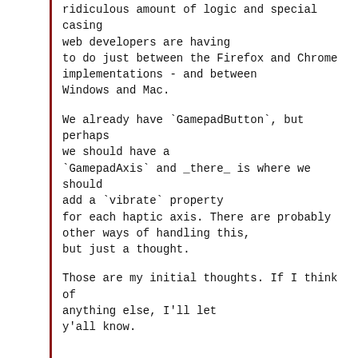ridiculous amount of logic and special casing web developers are having to do just between the Firefox and Chrome implementations - and between Windows and Mac.
We already have `GamepadButton`, but perhaps we should have a `GamepadAxis` and _there_ is where we should add a `vibrate` property for each haptic axis. There are probably other ways of handling this, but just a thought.
Those are my initial thoughts. If I think of anything else, I'll let y'all know.
On Thu, Apr 21, 2016 at 10:14 PM, Brandon Jones > wrote:
I'd like to propose the addition of several new features to the